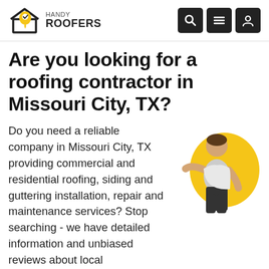HANDY ROOFERS
Are you looking for a roofing contractor in Missouri City, TX?
[Figure (illustration): Person leaning forward looking into distance, against a yellow blob/circle background]
Do you need a reliable company in Missouri City, TX providing commercial and residential roofing, siding and guttering installation, repair and maintenance services? Stop searching - we have detailed information and unbiased reviews about local contractors.